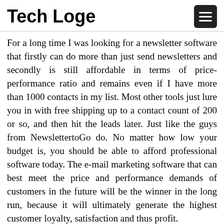Tech Loge
For a long time I was looking for a newsletter software that firstly can do more than just send newsletters and secondly is still affordable in terms of price-performance ratio and remains even if I have more than 1000 contacts in my list. Most other tools just lure you in with free shipping up to a contact count of 200 or so, and then hit the leads later. Just like the guys from NewslettertoGo do. No matter how low your budget is, you should be able to afford professional software today. The e-mail marketing software that can best meet the price and performance demands of customers in the future will be the winner in the long run, because it will ultimately generate the highest customer loyalty, satisfaction and thus profit.
Dieter Schäfer